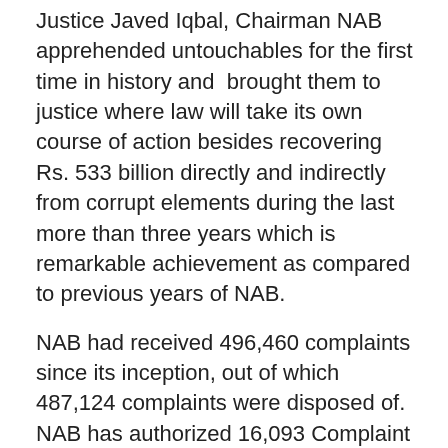Justice Javed Iqbal, Chairman NAB apprehended untouchables for the first time in history and brought them to justice where law will take its own course of action besides recovering Rs. 533 billion directly and indirectly from corrupt elements during the last more than three years which is remarkable achievement as compared to previous years of NAB.
NAB had received 496,460 complaints since its inception, out of which 487,124 complaints were disposed of. NAB has authorized 16,093 Complaint Verification (CVs), while 15,378 Complaint Verification were completed. NAB has authorized 10,241 inquiries, out of which 9,275 inquiries have been completed. NAB has authorized 4,654 Investigations, out of which 4,358 Investigations have been completed by NAB since its inception.
NAB has recovered Rs. 816.793 Billion directly and indirectly since its inception. NAB had filed 3754...